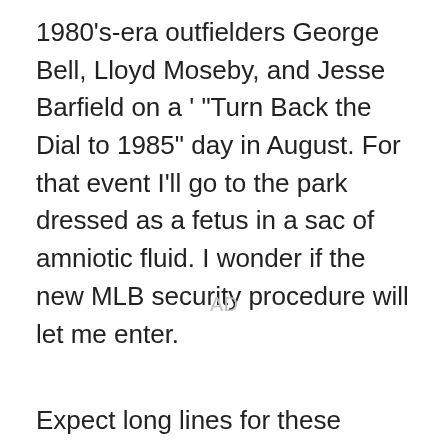1980's-era outfielders George Bell, Lloyd Moseby, and Jesse Barfield on a ' "Turn Back the Dial to 1985" day in August. For that event I'll go to the park dressed as a fetus in a sac of amniotic fluid. I wonder if the new MLB security procedure will let me enter.
AD
Expect long lines for these games. Another popular